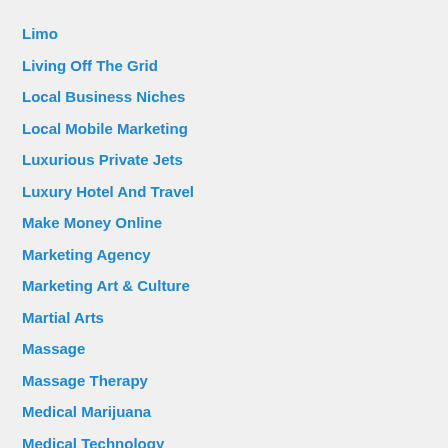Limo
Living Off The Grid
Local Business Niches
Local Mobile Marketing
Luxurious Private Jets
Luxury Hotel And Travel
Make Money Online
Marketing Agency
Marketing Art & Culture
Martial Arts
Massage
Massage Therapy
Medical Marijuana
Medical Technology
Mediterranean Diet